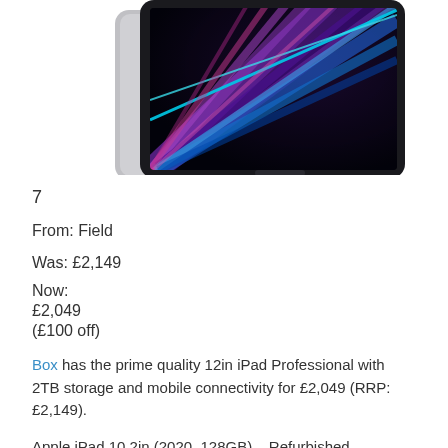[Figure (photo): Product photo of an Apple iPad Pro showing the front screen with colorful ray burst wallpaper (purple, blue, pink streaks on dark background) and a silver iPad partially visible behind/underneath it.]
7
From: Field
Was: £2,149
Now:
£2,049
(£100 off)
Box has the prime quality 12in iPad Professional with 2TB storage and mobile connectivity for £2,049 (RRP: £2,149).
Apple iPad 10.2in (2020, 128GB) – Refurbished